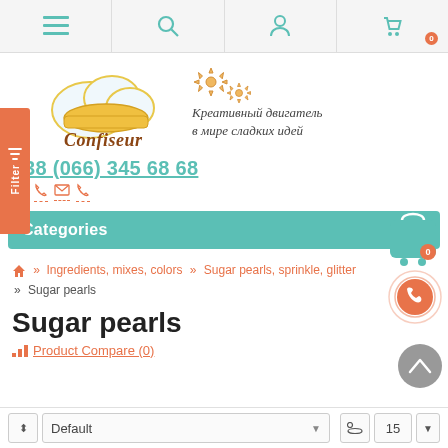Navigation bar with menu, search, account, and cart icons
[Figure (logo): Confiseur logo with chef hat cloud graphic and Russian tagline: Креативный двигатель в мире сладких идей]
+38 (066) 345 68 68
Categories
» Ingredients, mixes, colors  »  Sugar pearls, sprinkle, glitter  »  Sugar pearls
Sugar pearls
Product Compare (0)
Default | 15